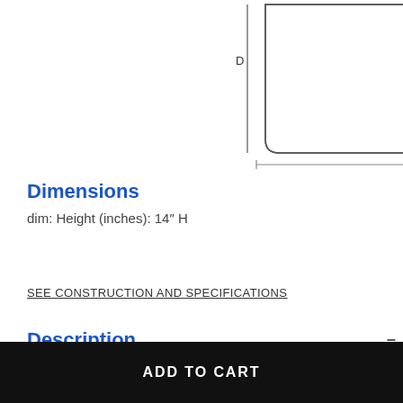[Figure (schematic): Line drawing showing a rectangular shape with rounded bottom corners. A vertical line with label D on the left indicates height dimension. A horizontal line with label W below indicates width dimension.]
Dimensions
dim: Height (inches): 14″ H
SEE CONSTRUCTION AND SPECIFICATIONS
Description
ADD TO CART